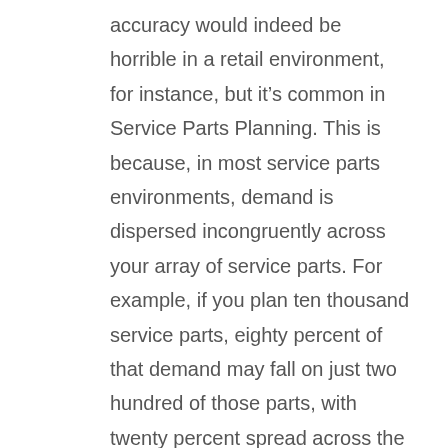accuracy would indeed be horrible in a retail environment, for instance, but it's common in Service Parts Planning. This is because, in most service parts environments, demand is dispersed incongruently across your array of service parts. For example, if you plan ten thousand service parts, eighty percent of that demand may fall on just two hundred of those parts, with twenty percent spread across the other 9,800 parts. With that kind of asymmetry and unpredictability, high forecasting accuracy in the service parts world just isn't realistic, especially on the long tail of very slow moving parts. In fact, the best